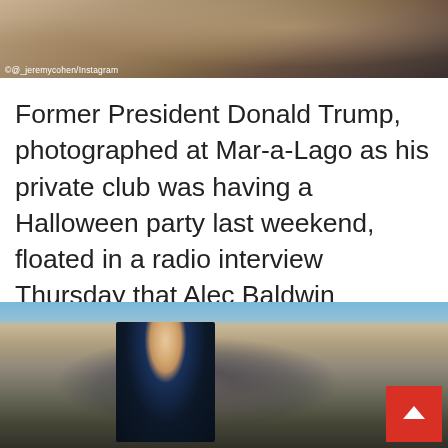[Figure (photo): Top portion of a photo showing people at what appears to be Mar-a-Lago during a Halloween party, with a photo credit reading © @_jeremycohen/Instagram]
Former President Donald Trump, photographed at Mar-a-Lago as his private club was having a Halloween party last weekend, floated in a radio interview Thursday that Alec Baldwin intentionally shot cinematographer Halyna Hutchins
[Figure (photo): Photo of Alec Baldwin on a phone call outdoors, wearing a dark navy t-shirt, with a rural/desert background, appearing distressed]